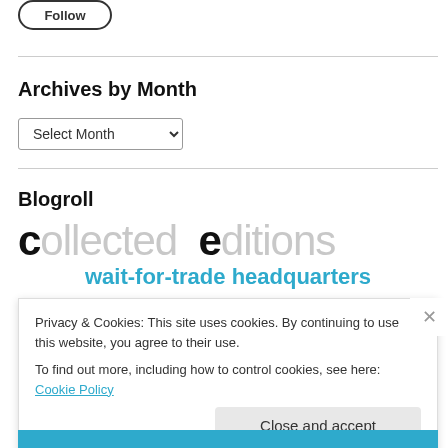[Figure (other): Follow button (pill-shaped outline button)]
Archives by Month
Select Month (dropdown)
Blogroll
[Figure (logo): Collected Editions logo — large grey text 'collected editions' with black bold 'c' and 'e', subtitle 'wait-for-trade headquarters' in blue]
Privacy & Cookies: This site uses cookies. By continuing to use this website, you agree to their use.
To find out more, including how to control cookies, see here: Cookie Policy
Close and accept